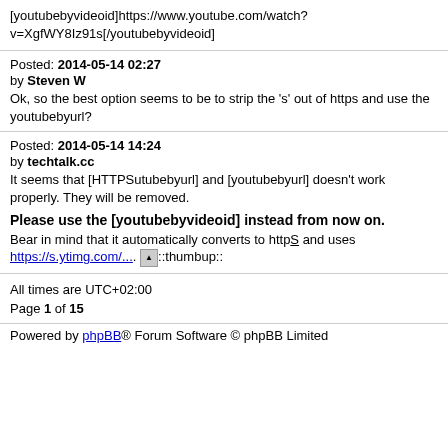[youtubebyvideoid]https://www.youtube.com/watch?v=XgfWY8Iz91s[/youtubebyvideoid]
Posted: 2014-05-14 02:27
by Steven W
Ok, so the best option seems to be to strip the 's' out of https and use the youtubebyurl?
Posted: 2014-05-14 14:24
by techtalk.cc
It seems that [HTTPSutubebyurl] and [youtubebyurl] doesn't work properly. They will be removed.

Please use the [youtubebyvideoid] instead from now on.

Bear in mind that it automatically converts to httpS and uses https://s.ytimg.com/... ::thumbup::
All times are UTC+02:00
Page 1 of 15
Powered by phpBB® Forum Software © phpBB Limited